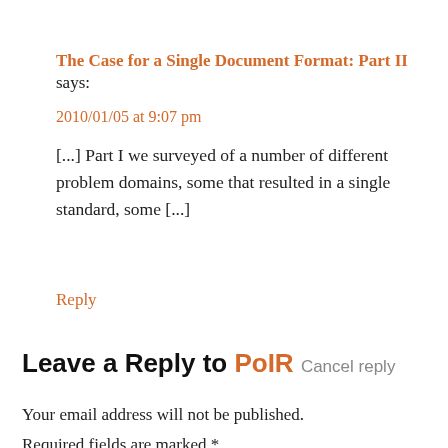The Case for a Single Document Format: Part II says:
2010/01/05 at 9:07 pm
[...] Part I we surveyed of a number of different problem domains, some that resulted in a single standard, some [...]
Reply
Leave a Reply to PoIR Cancel reply
Your email address will not be published.
Required fields are marked *